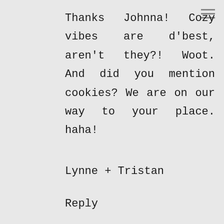Thanks Johnna! Cozy vibes are d'best, aren't they?! Woot. And did you mention cookies? We are on our way to your place. haha!
Lynne + Tristan
Reply